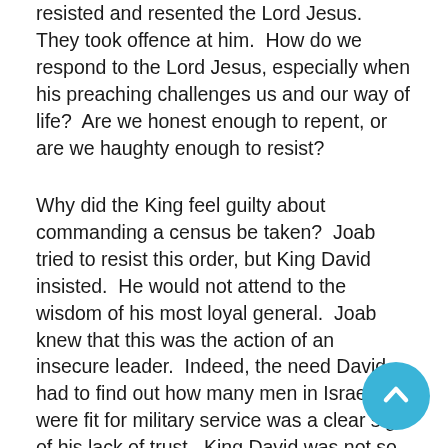resisted and resented the Lord Jesus.  They took offence at him.  How do we respond to the Lord Jesus, especially when his preaching challenges us and our way of life?  Are we honest enough to repent, or are we haughty enough to resist?
Why did the King feel guilty about commanding a census be taken?  Joab tried to resist this order, but King David insisted.  He would not attend to the wisdom of his most loyal general.  Joab knew that this was the action of an insecure leader.  Indeed, the need David had to find out how many men in Israel were fit for military service was a clear sign of his lack of trust.  King David was not so sure any more that the LORD was with him.  The King of Israel did not trust the KING of Kings and LORD of Lords!  Among his own Chosen People, even with his chosen king, there was no trust in the LORD.  Indeed